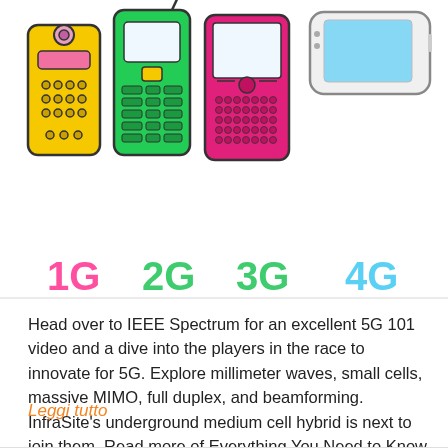[Figure (illustration): Illustration of four mobile phones representing cellular generations 1G (yellow flip phone), 2G (green candy-bar phone), 3G (pink QWERTY phone), 4G (white modern smartphone with blue screen), arranged left to right with colored generation labels below.]
Head over to IEEE Spectrum for an excellent 5G 101 video and a dive into the players in the race to innovate for 5G. Explore millimeter waves, small cells, massive MIMO, full duplex, and beamforming. InfraSite's underground medium cell hybrid is next to join them. Read more of Everything You Need to Know About 5G
Leggi tutto